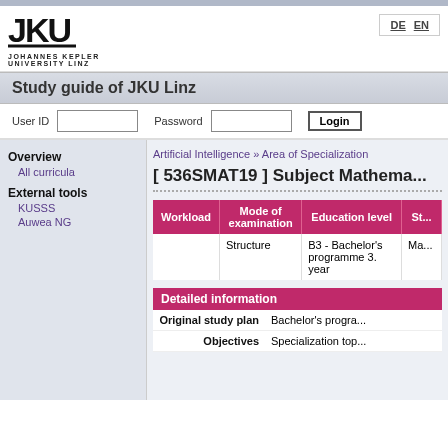Study guide of JKU Linz
[Figure (logo): JKU Johannes Kepler University Linz logo]
DE  EN
User ID   Password   Login
Overview
All curricula
External tools
KUSSS
Auwea NG
Artificial Intelligence » Area of Specialization
[ 536SMAT19 ] Subject Mathema...
| Workload | Mode of examination | Education level | St... |
| --- | --- | --- | --- |
|  | Structure | B3 - Bachelor's programme 3. year | Ma... |
Detailed information
| Original study plan | Bachelor's progra... |
| Objectives | Specialization top... |